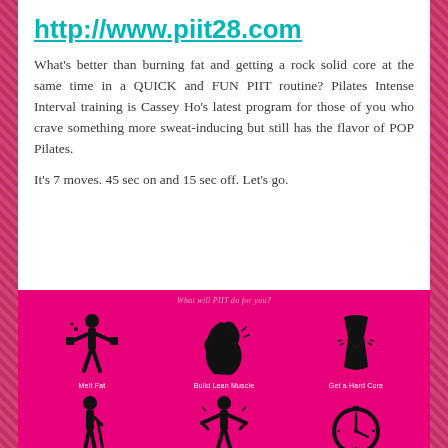http://www.piit28.com
What’s better than burning fat and getting a rock solid core at the same time in a QUICK and FUN PIIT routine? Pilates Intense Interval training is Cassey Ho’s latest program for those of you who crave something more sweat-inducing but still has the flavor of POP Pilates.
It’s 7 moves. 45 sec on and 15 sec off. Let’s go.
[Figure (infographic): Pink infographic box with title 'What will PIIT do for you?' and 6 icons in two rows: top row: Melt Fat (figure with weights), Build Lean Muscle (flexing arm), Get a Hard Core (torso silhouette); bottom row: Improve Posture (figure with cane), Build Confidence (figure with hands on hips), Save Time (clock icon)]